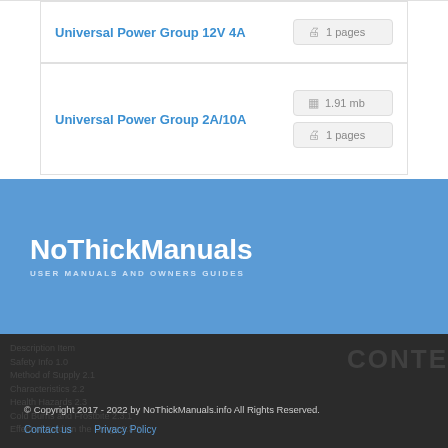Universal Power Group 12V 4A
1 pages
Universal Power Group 2A/10A
1.91 mb
1 pages
NoThickManuals
USER MANUALS AND OWNERS GUIDES
© Copyright 2017 - 2022 by NoThickManuals.info All Rights Reserved.
Contact us   Privacy Policy